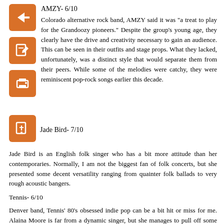AMZY- 6/10
Colorado alternative rock band, AMZY said it was "a treat to play for the Grandoozy pioneers." Despite the group's young age, they clearly have the drive and creativity necessary to gain an audience. This can be seen in their outfits and stage props. What they lacked, unfortunately, was a distinct style that would separate them from their peers. While some of the melodies were catchy, they were reminiscent pop-rock songs earlier this decade.
Jade Bird- 7/10
Jade Bird is an English folk singer who has a bit more attitude than her contemporaries. Normally, I am not the biggest fan of folk concerts, but she presented some decent versatility ranging from quainter folk ballads to very rough acoustic bangers.
Tennis- 6/10
Denver band, Tennis' 80's obsessed indie pop can be a bit hit or miss for me. Alaina Moore is far from a dynamic singer, but she manages to pull off some captivating vocal melodies every now and then. Not to mention there were some impeccably